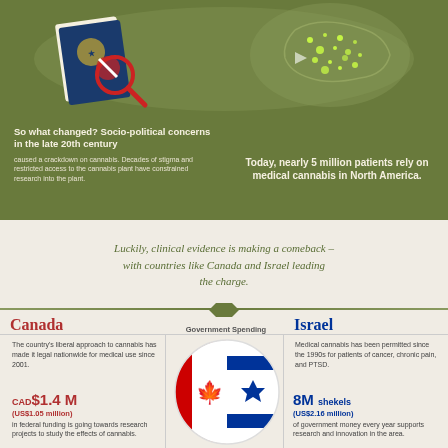[Figure (infographic): Passport with magnifying glass and cannabis-related imagery on olive green background]
[Figure (map): Glowing map of North America showing medical cannabis patients distribution]
So what changed? Socio-political concerns in the late 20th century caused a crackdown on cannabis. Decades of stigma and restricted access to the cannabis plant have constrained research into the plant.
Today, nearly 5 million patients rely on medical cannabis in North America.
Luckily, clinical evidence is making a comeback – with countries like Canada and Israel leading the charge.
Canada
Government Spending
Israel
The country's liberal approach to cannabis has made it legal nationwide for medical use since 2001.
[Figure (infographic): Canadian and Israeli flags side by side in circular crop]
Medical cannabis has been permitted since the 1990s for patients of cancer, chronic pain, and PTSD.
CAD$1.4 M (US$1.05 million) in federal funding is going towards research projects to study the effects of cannabis.
8M shekels (US$2.16 million) of government money every year supports research and innovation in the area.